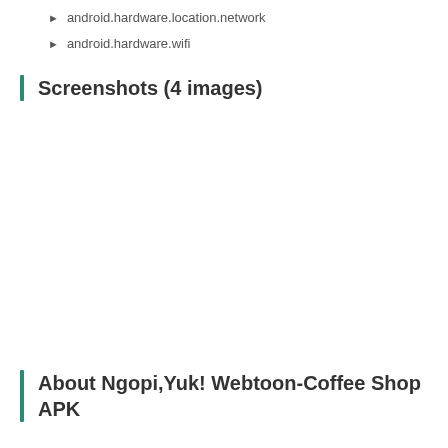android.hardware.location.network
android.hardware.wifi
Screenshots (4 images)
About Ngopi,Yuk! Webtoon-Coffee Shop APK